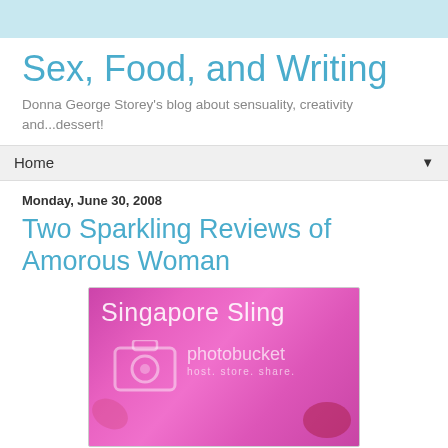Sex, Food, and Writing
Donna George Storey's blog about sensuality, creativity and...dessert!
Home
Monday, June 30, 2008
Two Sparkling Reviews of Amorous Woman
[Figure (photo): Pink/magenta colored image with text 'Singapore Sling' overlaid at top, photobucket watermark logo in center, blurred pink and red objects in background]